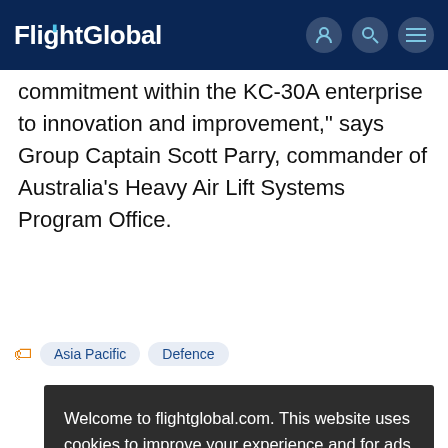FlightGlobal
commitment within the KC-30A enterprise to innovation and improvement,” says Group Captain Scott Parry, commander of Australia’s Heavy Air Lift Systems Program Office.
Asia Pacific
Defence
Welcome to flightglobal.com. This website uses cookies to improve your experience and for ads personalisation. By continuing to browse this site you are agreeing to our use of these cookies. You can learn more about the cookies we use here.
OK